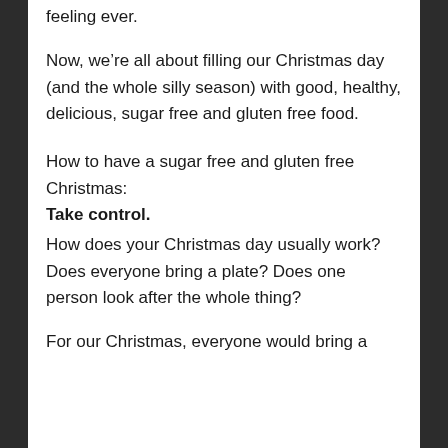feeling ever.
Now, we're all about filling our Christmas day (and the whole silly season) with good, healthy, delicious, sugar free and gluten free food.
How to have a sugar free and gluten free Christmas:
Take control.
How does your Christmas day usually work? Does everyone bring a plate? Does one person look after the whole thing?
For our Christmas, everyone would bring a